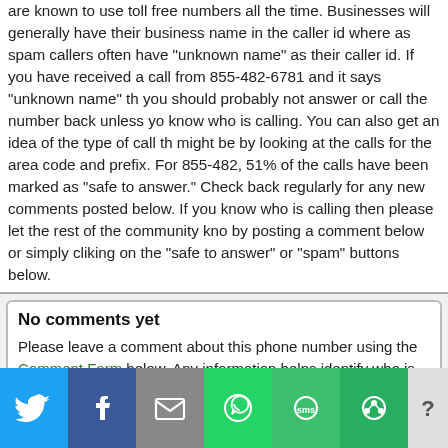are known to use toll free numbers all the time. Businesses will generally have their business name in the caller id where as spam callers often have "unknown name" as their caller id. If you have received a call from 855-482-6781 and it says "unknown name" then you should probably not answer or call the number back unless you know who is calling. You can also get an idea of the type of call this might be by looking at the calls for the area code and prefix. For 855-482, 51% of the calls have been marked as "safe to answer." Check back regularly for any new comments posted below. If you know who is calling then please let the rest of the community know by posting a comment below or simply cliking on the "safe to answer" or "spam" buttons below.
No comments yet
Please leave a comment about this phone number using the Comment Form below. Any information helps identify who is calling. Thank you!
[Figure (other): Social share bar with Twitter, Facebook, Email, WhatsApp, SMS, and Share buttons]